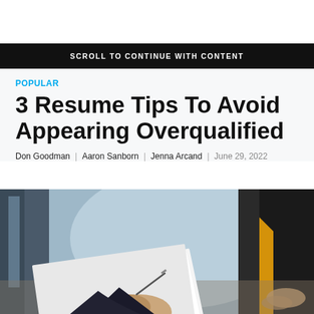SCROLL TO CONTINUE WITH CONTENT
POPULAR
3 Resume Tips To Avoid Appearing Overqualified
Don Goodman | Aaron Sanborn | Jenna Arcand | June 29, 2022
[Figure (photo): A person writing on a recruitment rating sheet document, with another person in a yellow top and dark blazer sitting across from them in an interview setting.]